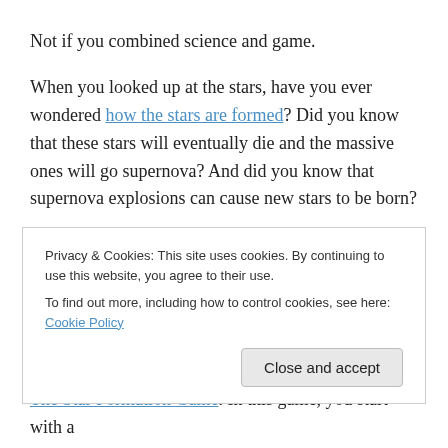Not if you combined science and game.
When you looked up at the stars, have you ever wondered how the stars are formed? Did you know that these stars will eventually die and the massive ones will go supernova? And did you know that supernova explosions can cause new stars to be born?
Basically, stars are born from clouds of gas. These gases are just hanging out in space, balanced between gravity and pressure, until “something” come along and disturbed
Privacy & Cookies: This site uses cookies. By continuing to use this website, you agree to their use.
To find out more, including how to control cookies, see here: Cookie Policy
The Star Formation Game. In this game, you start with a